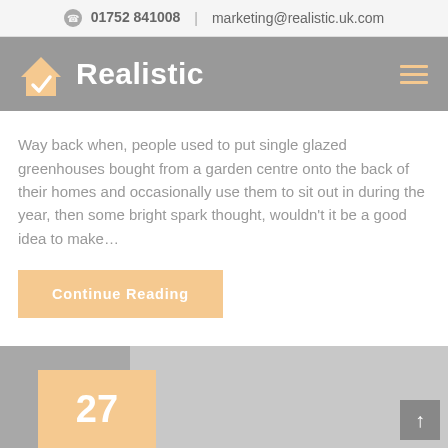☎  01752 841008  |  marketing@realistic.uk.com
Realistic
Way back when, people used to put single glazed greenhouses bought from a garden centre onto the back of their homes and occasionally use them to sit out in during the year, then some bright spark thought, wouldn't it be a good idea to make…
Continue Reading
[Figure (photo): Photo of a house with a conservatory or balcony addition, partially visible at the bottom of the page, with an orange badge showing the number 27]